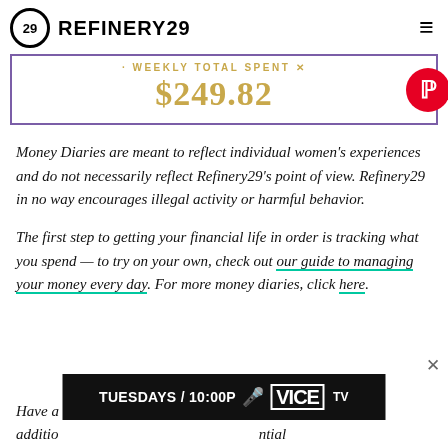REFINERY29
[Figure (infographic): Weekly Total Spent banner showing $249.82 in gold text inside a purple-bordered box with a Pinterest button]
Money Diaries are meant to reflect individual women's experiences and do not necessarily reflect Refinery29's point of view. Refinery29 in no way encourages illegal activity or harmful behavior.
The first step to getting your financial life in order is tracking what you spend — to try on your own, check out our guide to managing your money every day. For more money diaries, click here.
[Figure (screenshot): VICE TV ad banner: TUESDAYS / 10:00P with microphone icon and VICE TV logo on black background]
Have a ... in addition ... potential